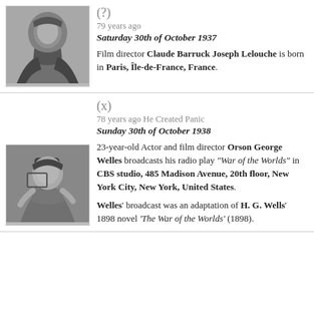[Figure (photo): Black and white photo of Claude Lelouche, a film director, shown in profile view wearing a turtleneck]
(?) 79 years ago Saturday 30th of October 1937
Film director Claude Barruck Joseph Lelouche is born in Paris, Île-de-France, France.
(x) 78 years ago He Created Panic Sunday 30th of October 1938
23-year-old Actor and film director Orson George Welles broadcasts his radio play "War of the Worlds" in CBS studio, 485 Madison Avenue, 20th floor, New York City, New York, United States.
Welles' broadcast was an adaptation of H. G. Wells' 1898 novel 'The War of the Worlds' (1898).
[Figure (photo): Black and white photo of Orson Welles at a CBS radio microphone stand, broadcasting War of the Worlds]